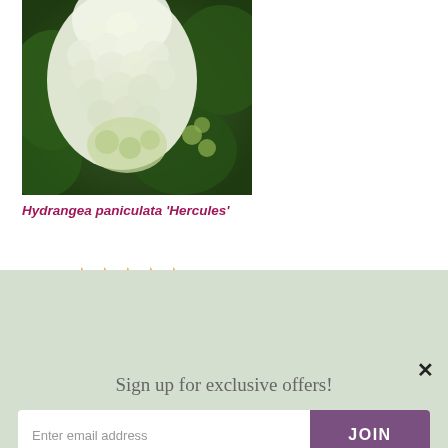[Figure (photo): Close-up photo of white Hydrangea paniculata 'Hercules' flower cluster with green leaves in background]
Hydrangea paniculata 'Hercules'
[Figure (other): 5 orange/gold star rating icons]
7 Reviews
Sun
Grows in:
shade: sunBorders
Sign up for exclusive offers!
Enter email address
JOIN